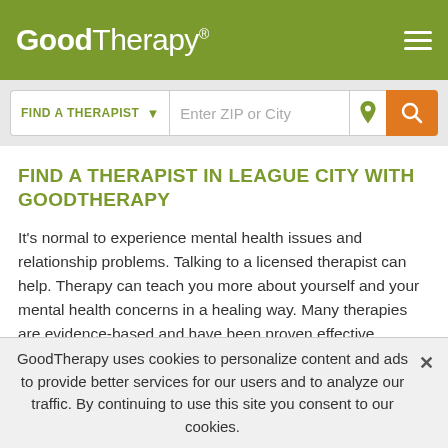GoodTherapy®
[Figure (screenshot): Search bar with FIND A THERAPIST dropdown, Enter ZIP or City input, location pin icon, and orange search button]
FIND A THERAPIST IN LEAGUE CITY WITH GOODTHERAPY
It's normal to experience mental health issues and relationship problems. Talking to a licensed therapist can help. Therapy can teach you more about yourself and your mental health concerns in a healing way. Many therapies are evidence-based and have been proven effective.
Since 2007, GoodTherapy has helped people like you connect with things...
GoodTherapy uses cookies to personalize content and ads to provide better services for our users and to analyze our traffic. By continuing to use this site you consent to our cookies.